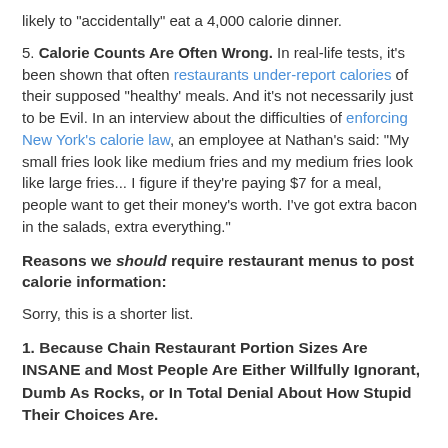likely to "accidentally" eat a 4,000 calorie dinner.
5. Calorie Counts Are Often Wrong. In real-life tests, it's been shown that often restaurants under-report calories of their supposed "healthy' meals. And it's not necessarily just to be Evil. In an interview about the difficulties of enforcing New York's calorie law, an employee at Nathan's said: "My small fries look like medium fries and my medium fries look like large fries... I figure if they're paying $7 for a meal, people want to get their money's worth. I've got extra bacon in the salads, extra everything."
Reasons we should require restaurant menus to post calorie information:
Sorry, this is a shorter list.
1. Because Chain Restaurant Portion Sizes Are INSANE and Most People Are Either Willfully Ignorant, Dumb As Rocks, or In Total Denial About How Stupid Their Choices Are.